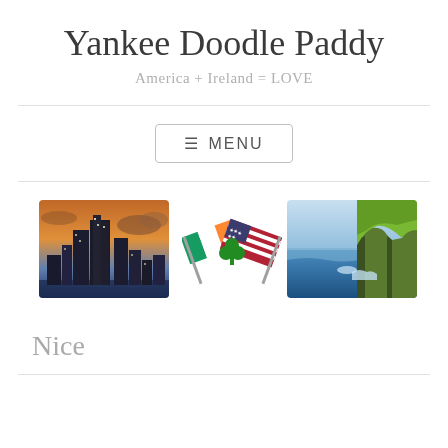Yankee Doodle Paddy
America + Ireland = LOVE
[Figure (other): Navigation menu button with hamburger icon and text MENU]
[Figure (photo): City skyline at sunset with tall skyscrapers, likely Chicago, orange and blue tones]
[Figure (illustration): Crossed Irish and American flags with a green shamrock in the center]
[Figure (photo): Aerial view of green coastal cliffs next to blue ocean water, likely Cliffs of Moher in Ireland]
Nice